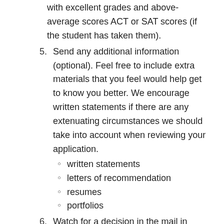with excellent grades and above-average scores ACT or SAT scores (if the student has taken them).
5. Send any additional information (optional). Feel free to include extra materials that you feel would help get to know you better. We encourage written statements if there are any extenuating circumstances we should take into account when reviewing your application.
written statements
letters of recommendation
resumes
portfolios
6. Watch for a decision in the mail in about three weeks.
7. Save your place! So we don’t give your spot away, return the confirmation card included in